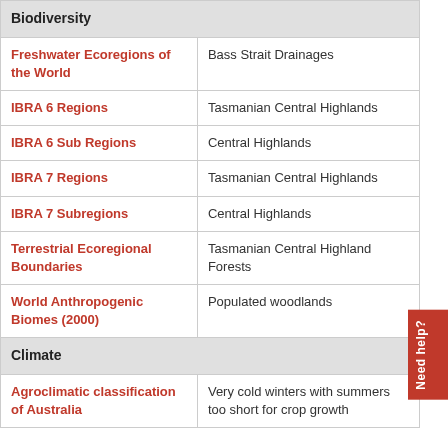| Category | Value |
| --- | --- |
| Biodiversity |  |
| Freshwater Ecoregions of the World | Bass Strait Drainages |
| IBRA 6 Regions | Tasmanian Central Highlands |
| IBRA 6 Sub Regions | Central Highlands |
| IBRA 7 Regions | Tasmanian Central Highlands |
| IBRA 7 Subregions | Central Highlands |
| Terrestrial Ecoregional Boundaries | Tasmanian Central Highland Forests |
| World Anthropogenic Biomes (2000) | Populated woodlands |
| Climate |  |
| Agroclimatic classification of Australia | Very cold winters with summers too short for crop growth |